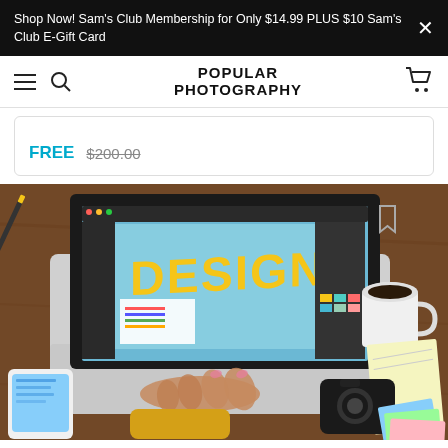Shop Now! Sam's Club Membership for Only $14.99 PLUS $10 Sam's Club E-Gift Card
[Figure (screenshot): Popular Photography website navigation bar with hamburger menu, search icon, logo, and cart icon]
FREE $200.00
[Figure (photo): Overhead view of a laptop with a design software open showing the word DESIGN in yellow letters on a blue background, surrounded by a coffee cup, camera, phone, and notebooks on a desk]